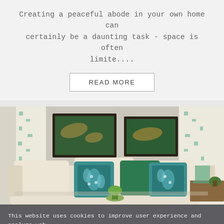Creating a peaceful abode in your own home can certainly be a daunting task - space is often limite....
READ MORE
[Figure (photo): Living room with white sofa, blue and green patterned pillows, green solid pillow, two framed map artworks on the wall, sheer curtains with teal pattern, side table with lamp and plant]
This website uses cookies to improve user experience and analyze web traffic. By clicking "Allow Cookies" you consent to store on your device all the technologies as described in our Cookie Po... LEARN MORE.
allow cookies